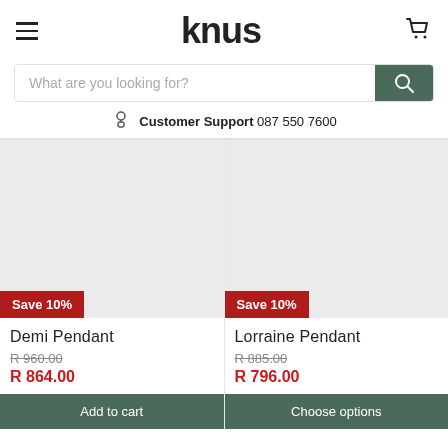knus
What are you looking for?
Customer Support  087 550 7600
[Figure (illustration): Product card with light gray placeholder image for Demi Pendant, Save 10% badge]
Demi Pendant
R 960.00
R 864.00
Add to cart
[Figure (illustration): Product card with light gray placeholder image for Lorraine Pendant, Save 10% badge]
Lorraine Pendant
R 885.00
R 796.00
Choose options